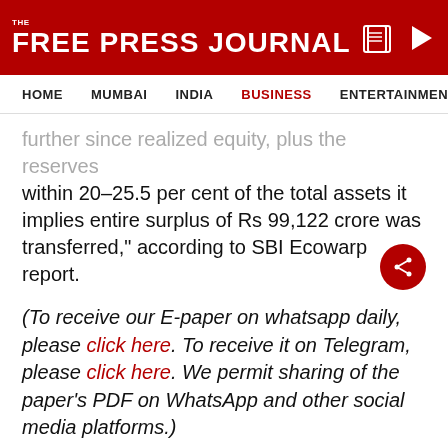THE FREE PRESS JOURNAL
HOME  MUMBAI  INDIA  BUSINESS  ENTERTAINMENT  SPO
further since realized equity, plus the reserves within 20-25.5 per cent of the total assets it implies entire surplus of Rs 99,122 crore was transferred," according to SBI Ecowarp report.
(To receive our E-paper on whatsapp daily, please click here. To receive it on Telegram, please click here. We permit sharing of the paper’s PDF on WhatsApp and other social media platforms.)